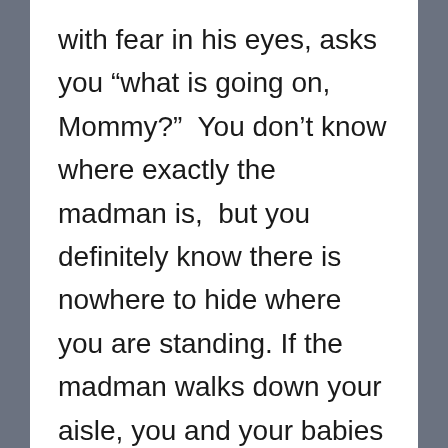with fear in his eyes, asks you “what is going on, Mommy?”  You don’t know where exactly the madman is,  but you definitely know there is nowhere to hide where you are standing. If the madman walks down your aisle, you and your babies are sitting ducks just waiting to be slaughtered.  The police, even if they are on their way, are probably still many long minutes